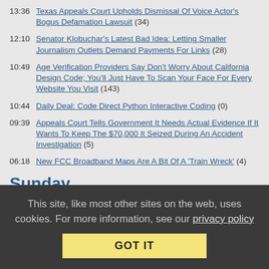13:36 Texas Appeals Court Upholds Dismissal Of Voice Actor's Bogus Defamation Lawsuit (34)
12:10 Senator Klobuchar's Latest Bad Idea: Letting Smaller Journalism Outlets Demand Payments For Links (28)
10:49 Age Verification Providers Say Don't Worry About California Design Code; You'll Just Have To Scan Your Face For Every Website You Visit (143)
10:44 Daily Deal: Code Direct Python Interactive Coding (0)
09:39 Appeals Court Tells Government It Needs Actual Evidence If It Wants To Keep The $70,000 It Seized During An Accident Investigation (5)
06:18 New FCC Broadband Maps Are A Bit Of A 'Train Wreck' (4)
Sunday
12:00 Funniest/Most Insightful Comments Of The Week At Techdirt (2)
Saturday
12:00 This Week In Techdirt History: August 21st - 27th (4)
This site, like most other sites on the web, uses cookies. For more information, see our privacy policy
GOT IT